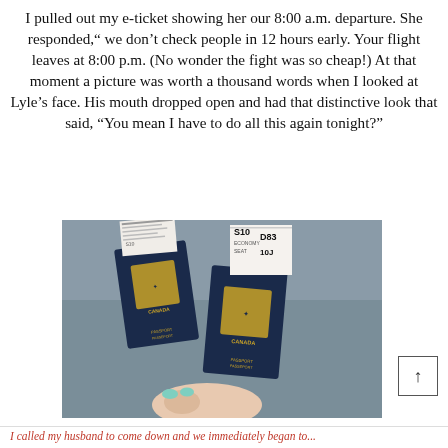I pulled out my e-ticket showing her our 8:00 a.m. departure. She responded," we don't check people in 12 hours early. Your flight leaves at 8:00 p.m. (No wonder the fight was so cheap!) At that moment a picture was worth a thousand words when I looked at Lyle's face. His mouth dropped open and had that distinctive look that said, "You mean I have to do all this again tonight?"
[Figure (photo): Two dark navy Canadian passports held in a hand with mint-coloured nail polish, each with a boarding pass tucked inside. The boarding passes show seat numbers S10, D83, and 10J visible.]
I called my husband to come down and we immediately began to...